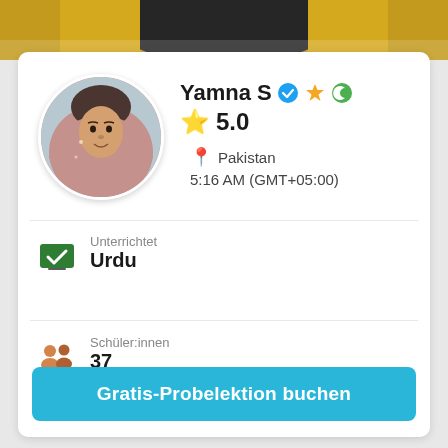[Figure (photo): Top banner showing a person wearing a yellow and black outfit, partially visible]
[Figure (photo): Circular profile photo of Yamna S, a woman wearing a pink hijab, smiling]
Yamna S ✔ ⭐ 🌙
⭐ 5.0
📍 Pakistan
5:16 AM (GMT+05:00)
Unterrichtet
Urdu
Schüler:innen
37
Gratis-Probelektion buchen